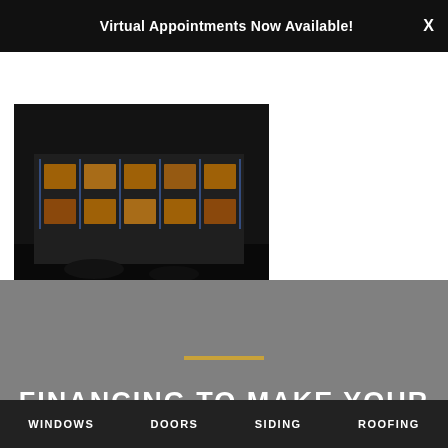Virtual Appointments Now Available!
[Figure (photo): Dark exterior photo of a house with illuminated windows visible through a frame of metal/glass structure, taken at dusk or night]
FINANCING TO MAKE YOUR PROJECTS MORE AFFORDABLE
WINDOWS   DOORS   SIDING   ROOFING